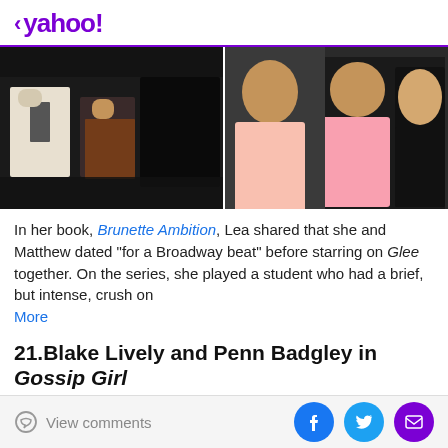< yahoo!
[Figure (photo): Two-panel photo strip: left panel shows TV show scene with people seated in dark room, right panel shows a man in tuxedo and woman in pink dress at red carpet event]
In her book, Brunette Ambition, Lea shared that she and Matthew dated "for a Broadway beat" before starring on Glee together. On the series, she played a student who had a brief, but intense, crush on
More
21.Blake Lively and Penn Badgley in Gossip Girl
[Figure (photo): Two-panel image with left panel labeled Gossip Girl showing dark scene, right panel labeled Real Life showing couple]
View comments